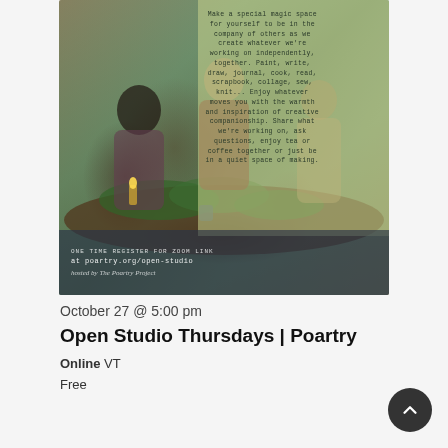[Figure (photo): Photo of people gathered around a table with plants/greenery doing creative activities, with a yellow-green text overlay describing the open studio concept and a dark blue overlay at the bottom with registration info: ONE TIME REGISTER FOR ZOOM LINK at poartry.org/open-studio, hosted by The Poartry Project]
October 27 @ 5:00 pm
Open Studio Thursdays | Poartry
Online VT
Free